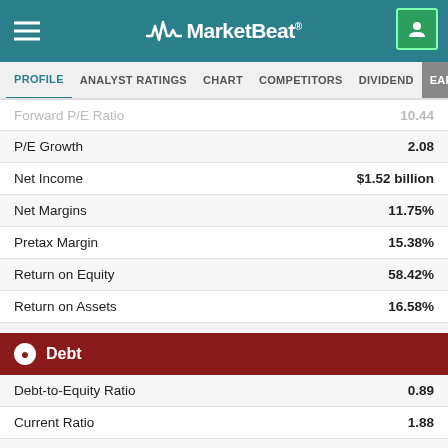MarketBeat
PROFILE | ANALYST RATINGS | CHART | COMPETITORS | DIVIDEND | EARNINGS
| Metric | Value |
| --- | --- |
| Forward P/E Ratio | 10.44 |
| P/E Growth | 2.08 |
| Net Income | $1.52 billion |
| Net Margins | 11.75% |
| Pretax Margin | 15.38% |
| Return on Equity | 58.42% |
| Return on Assets | 16.58% |
Debt
| Metric | Value |
| --- | --- |
| Debt-to-Equity Ratio | 0.89 |
| Current Ratio | 1.88 |
| Quick Ratio | 0.87 |
Sales & Book Value